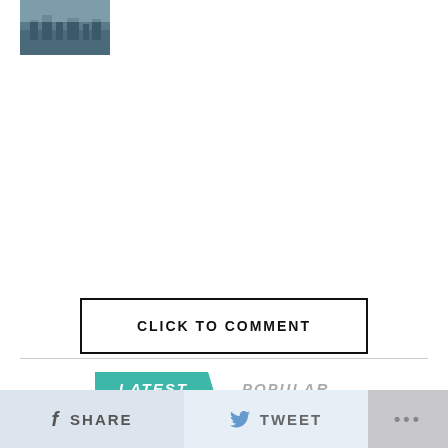[Figure (photo): Small thumbnail image of a city or landscape scene, dark teal/grey tones]
CLICK TO COMMENT
LATEST   POPULAR
SHARE
TWEET
...